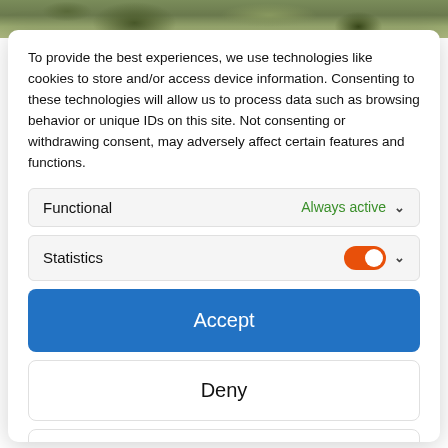[Figure (photo): Top strip showing a partial outdoor photo with trees and foliage]
To provide the best experiences, we use technologies like cookies to store and/or access device information. Consenting to these technologies will allow us to process data such as browsing behavior or unique IDs on this site. Not consenting or withdrawing consent, may adversely affect certain features and functions.
Functional    Always active ∨
Statistics    [toggle on] ∨
Accept
Deny
Save preferences
Cookie Policy